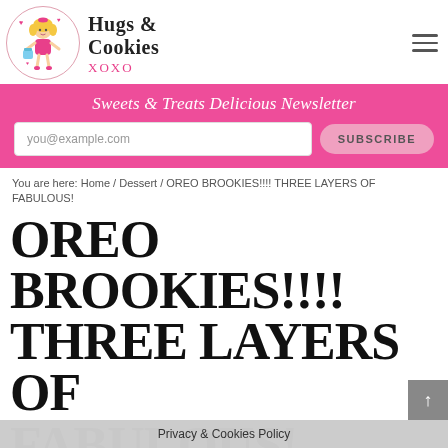[Figure (logo): Hugs & Cookies XOXO logo with cartoon girl illustration in a circle and decorative hearts]
Hugs & Cookies XOXO
Sweets & Treats Delicious Newsletter
you@example.com  SUBSCRIBE
You are here: Home / Dessert / OREO BROOKIES!!!! THREE LAYERS OF FABULOUS!
OREO BROOKIES!!!! THREE LAYERS OF FABULOUS!
Privacy & Cookies Policy